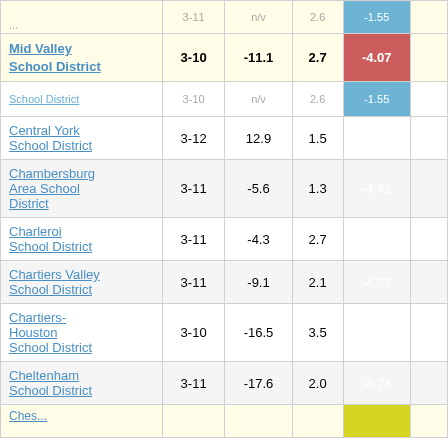| School District | Grades | Change | Poverty | Index Score |
| --- | --- | --- | --- | --- |
| Mid Valley School District | 3-10 | -11.1 | 2.7 | -4.07 |
| [partial] School District | 3-10 | n/v | 2.6 | -1.55 |
| Central York School District | 3-12 | 12.9 | 1.5 | 8.64 |
| Chambersburg Area School District | 3-11 | -5.6 | 1.3 | -4.42 |
| Charleroi School District | 3-11 | -4.3 | 2.7 | -1.55 |
| Chartiers Valley School District | 3-11 | -9.1 | 2.1 | -4.23 |
| Chartiers-Houston School District | 3-10 | -16.5 | 3.5 | -4.79 |
| Cheltenham School District | 3-11 | -17.6 | 2.0 | -8.74 |
| [partial] Ches... |  |  |  |  |